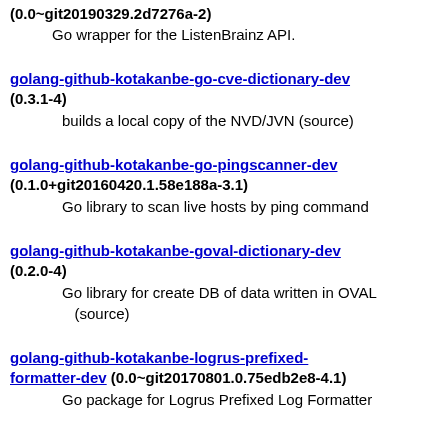(0.0~git20190329.2d7276a-2)
Go wrapper for the ListenBrainz API.
golang-github-kotakanbe-go-cve-dictionary-dev (0.3.1-4)
builds a local copy of the NVD/JVN (source)
golang-github-kotakanbe-go-pingscanner-dev (0.1.0+git20160420.1.58e188a-3.1)
Go library to scan live hosts by ping command
golang-github-kotakanbe-goval-dictionary-dev (0.2.0-4)
Go library for create DB of data written in OVAL (source)
golang-github-kotakanbe-logrus-prefixed-formatter-dev (0.0~git20170801.0.75edb2e8-4.1)
Go package for Logrus Prefixed Log Formatter